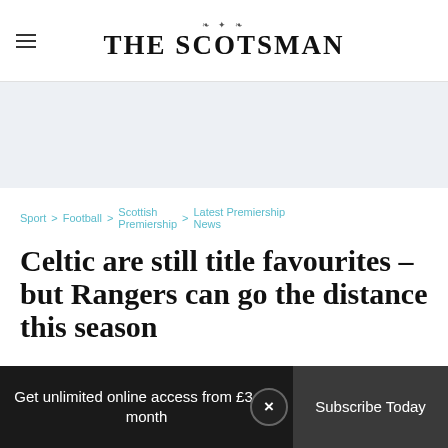THE SCOTSMAN
[Figure (other): Advertisement banner area (grey background, no content visible)]
Sport > Football > Scottish Premiership > Latest Premiership News
Celtic are still title favourites – but Rangers can go the distance this season
Get unlimited online access from £3 per month   Subscribe Today